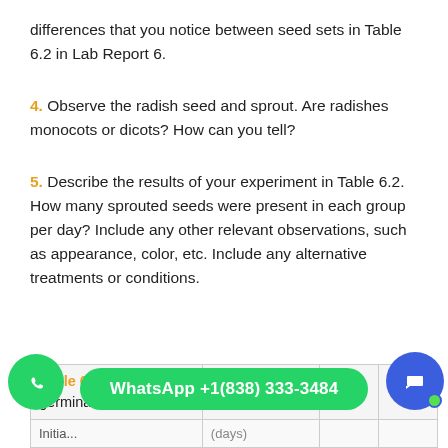differences that you notice between seed sets in Table 6.2 in Lab Report 6.
4. Observe the radish seed and sprout. Are radishes monocots or dicots? How can you tell?
5. Describe the results of your experiment in Table 6.2. How many sprouted seeds were present in each group per day? Include any other relevant observations, such as appearance, color, etc. Include any alternative treatments or conditions.
| Table 6.2. Seed germination. |  |  |  |
| --- | --- | --- | --- |
| Initia... | (days) |  |  |